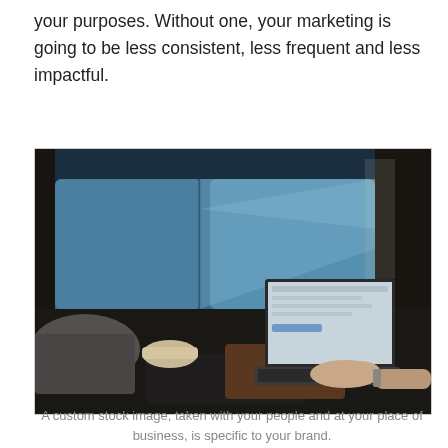your purposes. Without one, your marketing is going to be less consistent, less frequent and less impactful.
[Figure (photo): A person sitting on a couch or floor with legs stretched out, using a laptop computer. A blue sofa is visible in the background. The scene appears to be a casual indoor setting.]
A custom stock image, taken with your people and at your place of business, is specific to your brand.